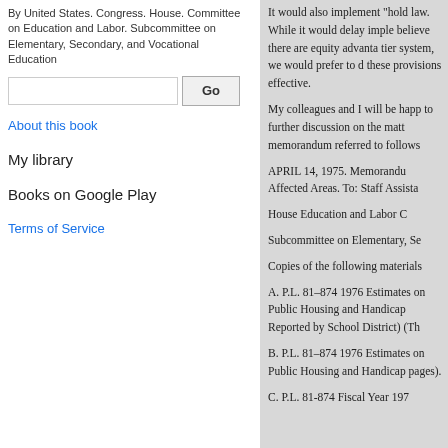By United States. Congress. House. Committee on Education and Labor. Subcommittee on Elementary, Secondary, and Vocational Education
About this book
My library
Books on Google Play
Terms of Service
It would also implement "hold law. While it would delay imple believe there are equity advanta tier system, we would prefer to d these provisions effective.
My colleagues and I will be happ to further discussion on the matt memorandum referred to follows
APRIL 14, 1975. Memorandu Affected Areas. To: Staff Assista House Education and Labor C Subcommittee on Elementary, Se Copies of the following materials A. P.L. 81–874 1976 Estimates on Public Housing and Handicap Reported by School District) (Th B. P.L. 81–874 1976 Estimates on Public Housing and Handicap pages). C. P.L. 81-874 Fiscal Year 197